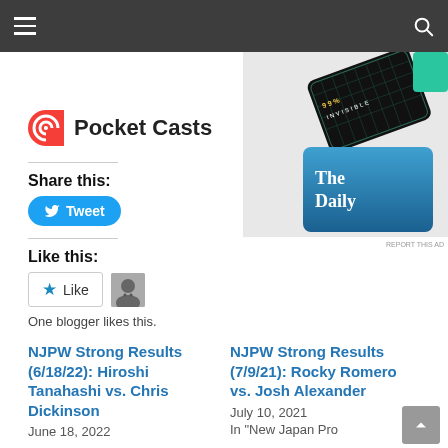[Figure (screenshot): Pocket Casts logo and app advertisement with podcast covers including 99% Invisible and The Daily]
REPORT THIS AD
Share this:
Tweet
Like this:
Like
One blogger likes this.
NJPW Strong Results (6/18/22): Hiroshi Tanahashi vs. Chris Dickinson
June 18, 2022
NJPW Strong Results (7/9/21): Rocky Romero vs. Josh Alexander
July 10, 2021
In "New Japan Pro